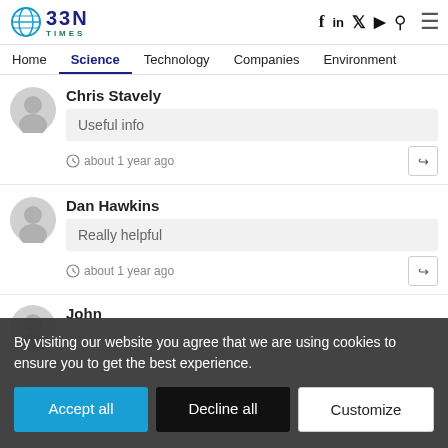BBN TIMES — Home | Science | Technology | Companies | Environment
Chris Stavely
Useful info
about 1 year ago
Dan Hawkins
Really helpful
about 1 year ago
John [partially visible]
By visiting our website you agree that we are using cookies to ensure you to get the best experience.
Accept all | Decline all | Customize